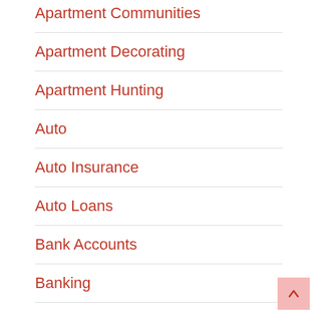Apartment Communities
Apartment Decorating
Apartment Hunting
Auto
Auto Insurance
Auto Loans
Bank Accounts
Banking
Biohazard Tips